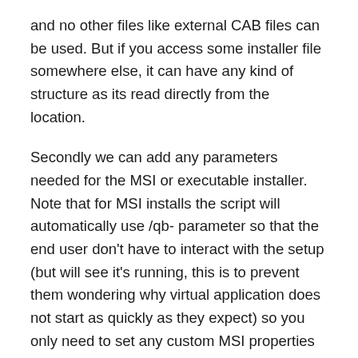and no other files like external CAB files can be used. But if you access some installer file somewhere else, it can have any kind of structure as its read directly from the location.
Secondly we can add any parameters needed for the MSI or executable installer.  Note that for MSI installs the script will automatically use /qb- parameter so that the end user don't have to interact with the setup (but will see it's running, this is to prevent them wondering why virtual application does not start as quickly as they expect) so you only need to set any custom MSI properties you would like to pass to the Windows Installer.
Then we can decide whether the installation should be done once per machine or once per user. Of these, per machine option is the default and most likely the one